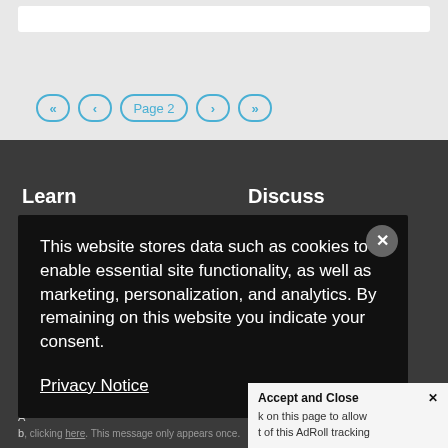[Figure (screenshot): White bar at top of page, part of website UI]
[Figure (screenshot): Pagination control showing Page 2 with navigation arrows (first, prev, Page 2, next, last)]
Learn
Discuss
e Building
cts
ine
60
ons
This website stores data such as cookies to enable essential site functionality, as well as marketing, personalization, and analytics. By remaining on this website you indicate your consent.
Privacy Notice
Y
A
b, clicking here. This message only appears once.
Accept and Close ×
k on this page to allow
t of this AdRoll tracking